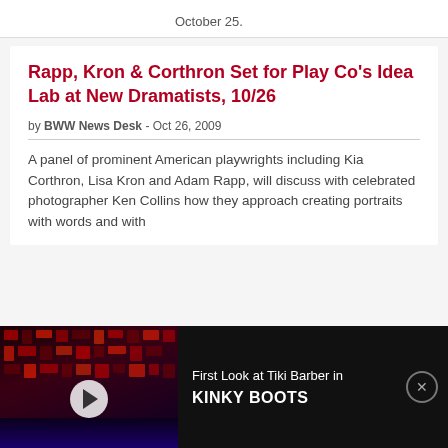October 25.
Rapp, Kron & Corthron Set for Play Co's Idea Lab at New Dramatists, 10/26
by BWW News Desk - Oct 26, 2009
A panel of prominent American playwrights including Kia Corthron, Lisa Kron and Adam Rapp, will discuss with celebrated photographer Ken Collins how they approach creating portraits with words and with
[Figure (screenshot): Video advertisement banner for 'First Look at Tiki Barber in KINKY BOOTS' showing a dark theatrical stage with red lighting and grid patterns, a play button overlay, and text on a black background with a close button.]